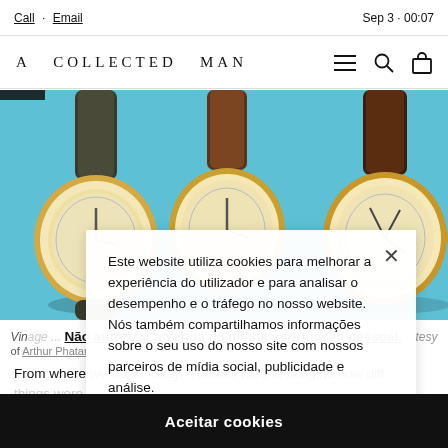Call · Email | Sep 3 · 00:07
A COLLECTED MAN
[Figure (photo): Three vintage gold watches with leather straps displayed on a teal/blue background, showing their dials from above.]
Este website utiliza cookies para melhorar a experiência do utilizador e para analisar o desempenho e o tráfego no nosso website. Nós também compartilhamos informações sobre o seu uso do nosso site com nossos parceiros de mídia social, publicidade e análise.
Vintage ... courtesy of Arthur Phalar
Não autorizar a venda da minha informação pessoal.
Aceitar cookies
From where we stand today, it seems hard to imagine how different things were just a few decades ago. Since then a ... ast